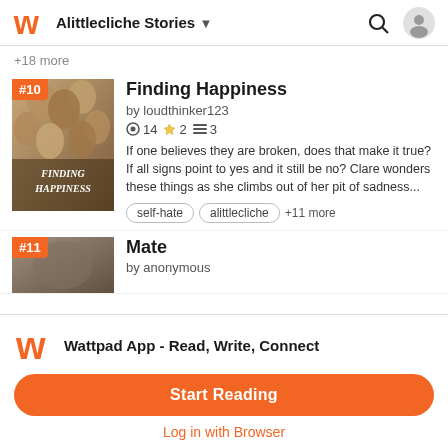Alittlecliche Stories
+18 more
[Figure (illustration): Book cover for 'Finding Happiness' showing illustrated faces with various expressions, with '#10' badge]
Finding Happiness
by loudthinker123
14 ★ 2 ≡ 3
If one believes they are broken, does that make it true? If all signs point to yes and it still be no? Clare wonders these things as she climbs out of her pit of sadness...
self-hate
alittlecliche
+11 more
[Figure (illustration): Book cover for 'Mate' with '#11' badge, partial view]
Mate
by anonymous
Wattpad App - Read, Write, Connect
Start Reading
Log in with Browser